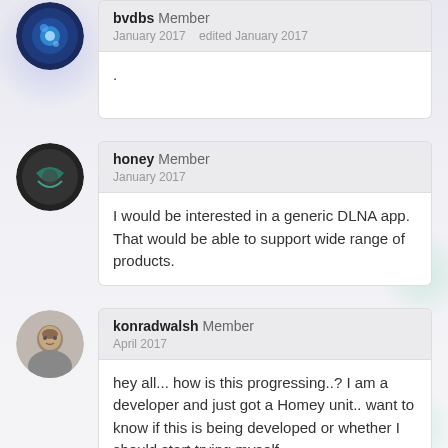bvdbs Member — January 2017  edited January 2017
.
honey Member — January 2017
I would be interested in a generic DLNA app. That would be able to support wide range of products.
konradwalsh Member — April 2017
hey all... how is this progressing..? I am a developer and just got a Homey unit.. want to know if this is being developed or whether I should start trying myself